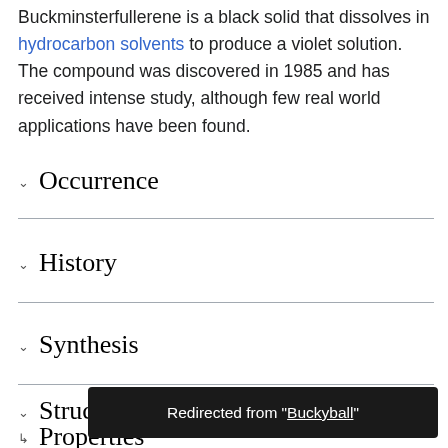Buckminsterfullerene is a black solid that dissolves in hydrocarbon solvents to produce a violet solution. The compound was discovered in 1985 and has received intense study, although few real world applications have been found.
Occurrence
History
Synthesis
Structure
Properties
Redirected from "Buckyball"